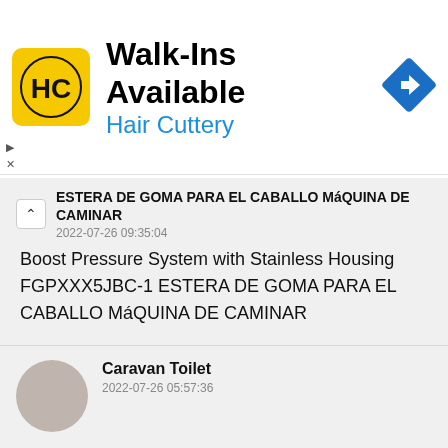[Figure (logo): Hair Cuttery advertisement banner with yellow HC logo, 'Walk-Ins Available' headline, 'Hair Cuttery' subtitle in blue, and blue navigation/directions diamond icon]
ESTERA DE GOMA PARA EL CABALLO MáQUINA DE CAMINAR
2022-07-26 09:35:04
Boost Pressure System with Stainless Housing FGPXXX5JBC-1 ESTERA DE GOMA PARA EL CABALLO MáQUINA DE CAMINAR
Caravan Toilet
2022-07-26 05:57:36
RVV Copper Power Cable Caravan Toilet